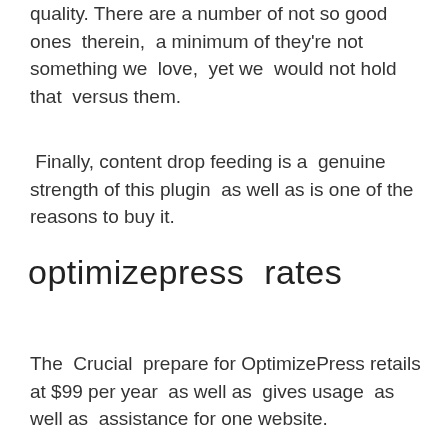quality. There are a number of not so good ones therein, a minimum of they're not something we love, yet we would not hold that versus them.
Finally, content drop feeding is a genuine strength of this plugin as well as is one of the reasons to buy it.
optimizepress rates
The Crucial prepare for OptimizePress retails at $99 per year as well as gives usage as well as assistance for one website.